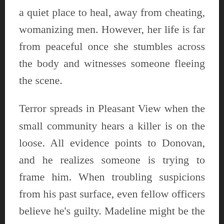a quiet place to heal, away from cheating, womanizing men. However, her life is far from peaceful once she stumbles across the body and witnesses someone fleeing the scene.
Terror spreads in Pleasant View when the small community hears a killer is on the loose. All evidence points to Donovan, and he realizes someone is trying to frame him. When troubling suspicions from his past surface, even fellow officers believe he's guilty. Madeline might be the only person who can clear his name, but first he has to win her trust.
The body count rises and no one is safe. The murderer makes it clear Madeline is next. Soon, Donovan's whole world is focused on protecting